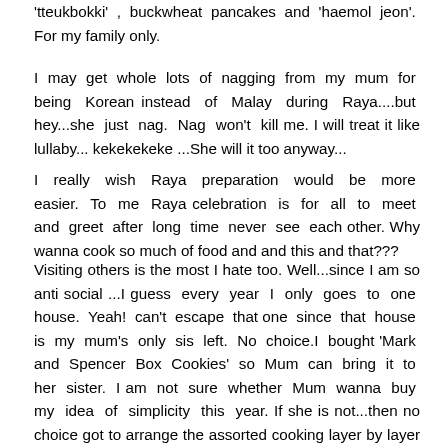'tteukbokki' , buckwheat pancakes and 'haemol jeon'.  For my family only.
I may get whole lots of nagging from my mum for being Korean instead of Malay during Raya....but hey...she just nag. Nag won't kill me. I will treat it like lullaby... kekekekeke ...She will it too anyway...
I really wish Raya preparation would be more easier. To me Raya celebration is for all to meet and greet after long time never see each other. Why wanna cook so much of food and and this and that???
Visiting others is the most I hate too. Well...since I am so anti social ...I guess every year I only goes to one house. Yeah! can't escape that one since that house is my mum's only sis left. No choice.I bought 'Mark and Spencer Box Cookies' so Mum can bring it to her sister. I am not sure whether Mum wanna buy my idea of simplicity this year. If she is not...then no choice got to arrange the assorted cooking layer by layer to bring to her sister. So 'mafan' ar.... If I drive so careless and